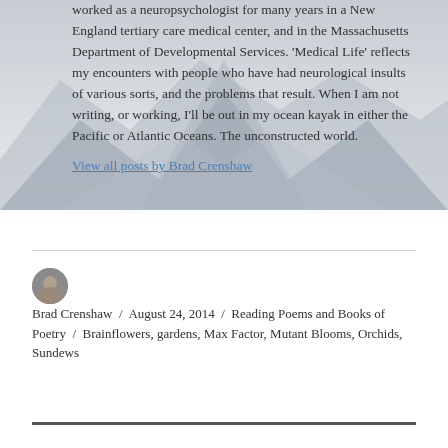worked as a neuropsychologist for many years in a New England tertiary care medical center, and in the Massachusetts Department of Developmental Services. 'Medical Life' reflects my encounters with people who have had neurological insults of various sorts, and the problems that result. When I am not writing, or working, I'll be out in my ocean kayak in either the Pacific or Atlantic Oceans. The unconstructed world. View all posts by Brad Crenshaw
Brad Crenshaw / August 24, 2014 / Reading Poems and Books of Poetry / Brainflowers, gardens, Max Factor, Mutant Blooms, Orchids, Sundews